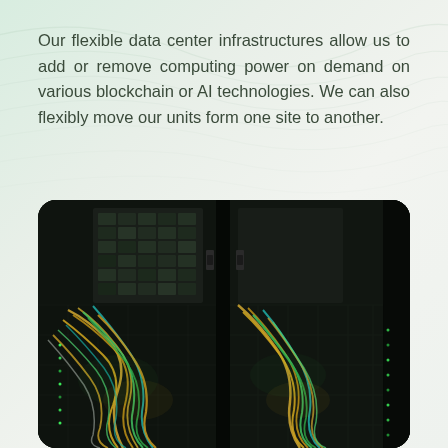Our flexible data center infrastructures allow us to add or remove computing power on demand on various blockchain or AI technologies. We can also flexibly move our units form one site to another.
[Figure (photo): Photograph of data center server racks with dense colorful cable management, showing green and gold illuminated fiber optic cables routed through black server rack frames, with blinking LED lights visible throughout.]